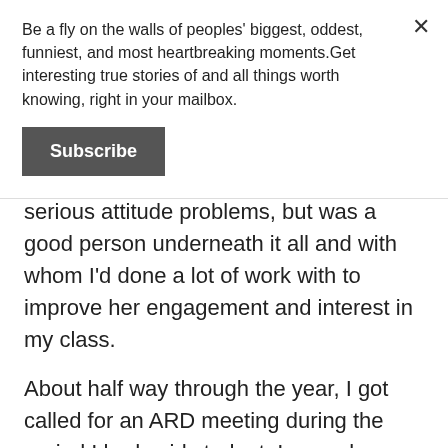Be a fly on the walls of peoples' biggest, oddest, funniest, and most heartbreaking moments.Get interesting true stories of and all things worth knowing, right in your mailbox.
Subscribe
serious attitude problems, but was a good person underneath it all and with whom I'd done a lot of work with to improve her engagement and interest in my class.
About half way through the year, I got called for an ARD meeting during the period I had said student. In my absence of ~45 minutes the sub decided to pick a petty argument with my kid, who was rightfully offended but unwisely